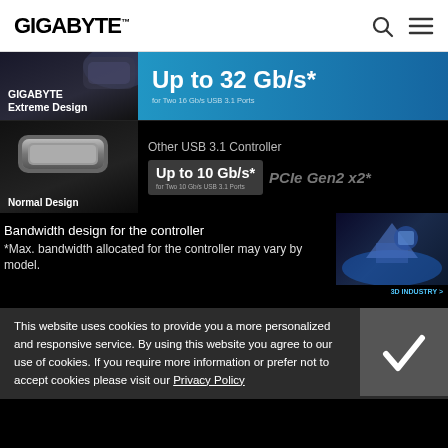GIGABYTE
[Figure (infographic): Comparison of GIGABYTE Extreme Design (Up to 32 Gb/s for Two 16 Gb/s USB 3.1 Ports) vs Normal Design Other USB 3.1 Controller (Up to 10 Gb/s for Two 10 Gb/s USB 3.1 Ports, PCIe Gen2 x2*)]
Bandwidth design for the controller
*Max. bandwidth allocated for the controller may vary by model.
[Figure (photo): 3D INDUSTRY thumbnail image]
This website uses cookies to provide you a more personalized and responsive service. By using this website you agree to our use of cookies. If you require more information or prefer not to accept cookies please visit our Privacy Policy